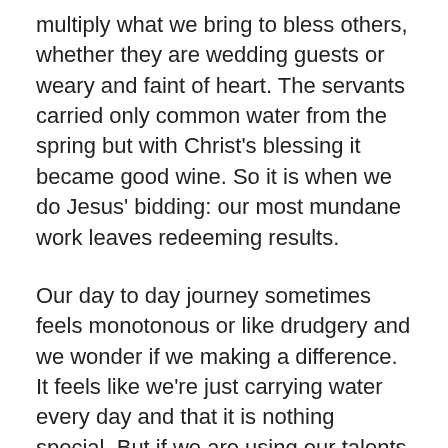multiply what we bring to bless others, whether they are wedding guests or weary and faint of heart. The servants carried only common water from the spring but with Christ's blessing it became good wine. So it is when we do Jesus' bidding: our most mundane work leaves redeeming results.
Our day to day journey sometimes feels monotonous or like drudgery and we wonder if we making a difference. It feels like we're just carrying water every day and that it is nothing special. But if we are using our talents and abilities, faithfully following Him, we are being transformed more and more into the likeness of Jesus. It's like the story we always hear about the sewing of a beautiful tapestry. If you look on the working side it looks like a huge mess of tangled threads but when you turn it over it's a beautiful masterpiece. We do not know the real splendor of the